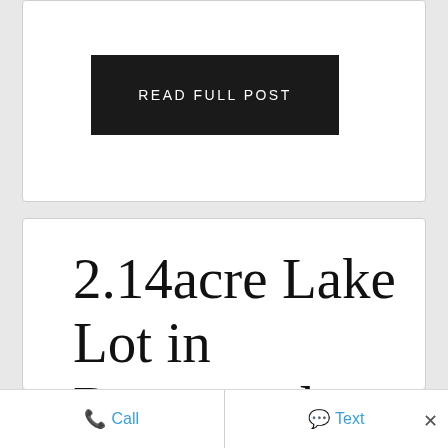READ FULL POST
2.14acre Lake Lot in Rosewood Estates on Pine Lake! 3 Bedroom getaway & only steps to the
Call
Text